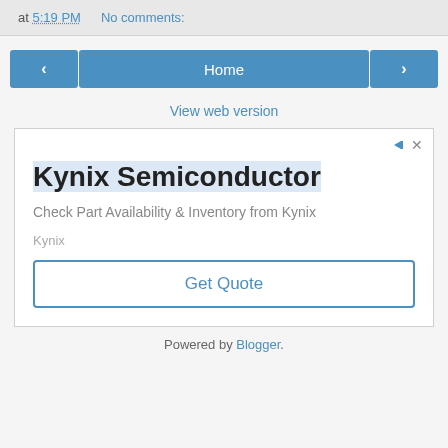at 5:19 PM   No comments:
< Home >
View web version
[Figure (infographic): Advertisement for Kynix Semiconductor with title 'Kynix Semiconductor', description 'Check Part Availability & Inventory from Kynix', brand 'Kynix', and a 'Get Quote' button.]
Powered by Blogger.